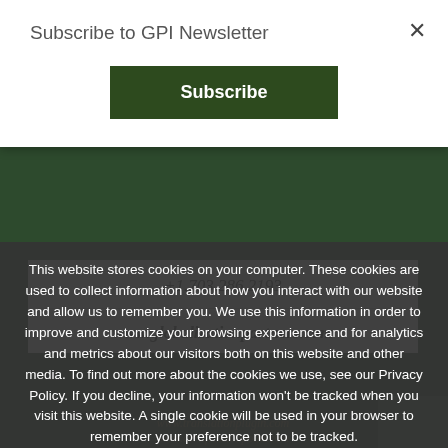Subscribe to GPI Newsletter
[Figure (screenshot): Subscribe button — dark green background with white bold text 'Subscribe']
+1.703.286.2193
www.globalizationpartners.com
www.translationplugin.com
www.certificationpoint.com
This website stores cookies on your computer. These cookies are used to collect information about how you interact with our website and allow us to remember you. We use this information in order to improve and customize your browsing experience and for analytics and metrics about our visitors both on this website and other media. To find out more about the cookies we use, see our Privacy Policy. If you decline, your information won't be tracked when you visit this website. A single cookie will be used in your browser to remember your preference not to be tracked.
Accept
Decline
Privacy policy